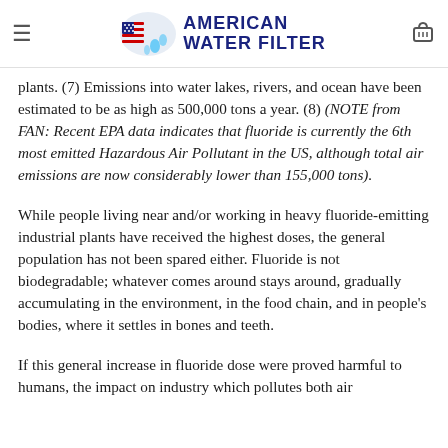AMERICAN WATER FILTER
plants. (7) Emissions into water lakes, rivers, and ocean have been estimated to be as high as 500,000 tons a year. (8) (NOTE from FAN: Recent EPA data indicates that fluoride is currently the 6th most emitted Hazardous Air Pollutant in the US, although total air emissions are now considerably lower than 155,000 tons).
While people living near and/or working in heavy fluoride-emitting industrial plants have received the highest doses, the general population has not been spared either. Fluoride is not biodegradable; whatever comes around stays around, gradually accumulating in the environment, in the food chain, and in people's bodies, where it settles in bones and teeth.
If this general increase in fluoride dose were proved harmful to humans, the impact on industry which pollutes both air